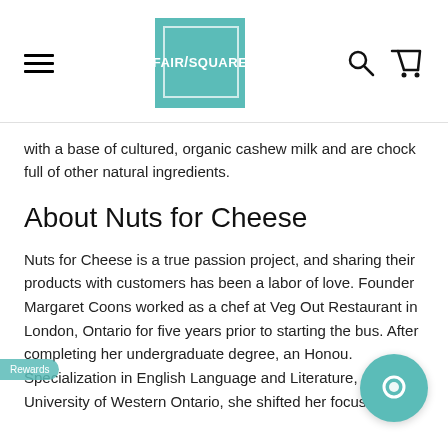FAIR/SQUARE navigation header with logo
with a base of cultured, organic cashew milk and are chock full of other natural ingredients.
About Nuts for Cheese
Nuts for Cheese is a true passion project, and sharing their products with customers has been a labor of love. Founder Margaret Coons worked as a chef at Veg Out Restaurant in London, Ontario for five years prior to starting the bus. After completing her undergraduate degree, an Honou. Specialization in English Language and Literature, at the University of Western Ontario, she shifted her focus.